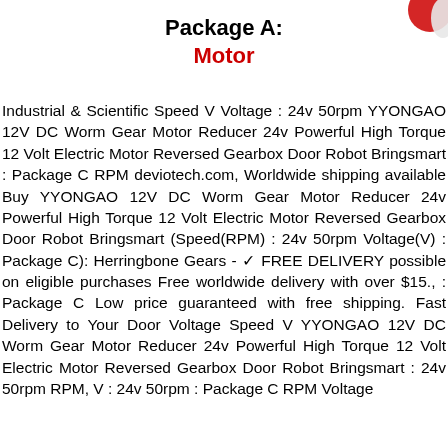[Figure (logo): Partial logo image visible in top-right corner]
Package A:
Motor
Industrial & Scientific Speed V Voltage : 24v 50rpm YYONGAO 12V DC Worm Gear Motor Reducer 24v Powerful High Torque 12 Volt Electric Motor Reversed Gearbox Door Robot Bringsmart : Package C RPM deviotech.com, Worldwide shipping available Buy YYONGAO 12V DC Worm Gear Motor Reducer 24v Powerful High Torque 12 Volt Electric Motor Reversed Gearbox Door Robot Bringsmart (Speed(RPM) : 24v 50rpm Voltage(V) : Package C): Herringbone Gears - ✓ FREE DELIVERY possible on eligible purchases Free worldwide delivery with over $15., : Package C Low price guaranteed with free shipping. Fast Delivery to Your Door Voltage Speed V YYONGAO 12V DC Worm Gear Motor Reducer 24v Powerful High Torque 12 Volt Electric Motor Reversed Gearbox Door Robot Bringsmart : 24v 50rpm RPM, V : 24v 50rpm : Package C RPM Voltage